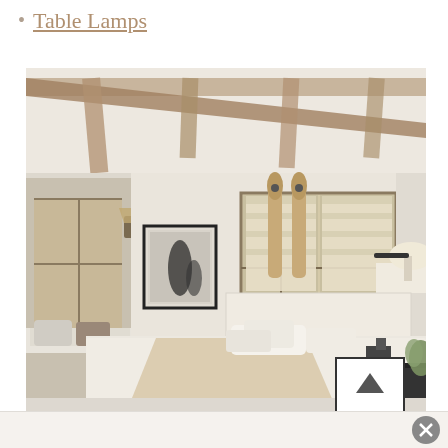Table Lamps
[Figure (photo): Rustic bedroom interior with exposed wooden ceiling beams, white bedding, a window seat with pillows, wall art, Roman shades on windows, and table lamps on nightstands]
(advertisement bar with close button)